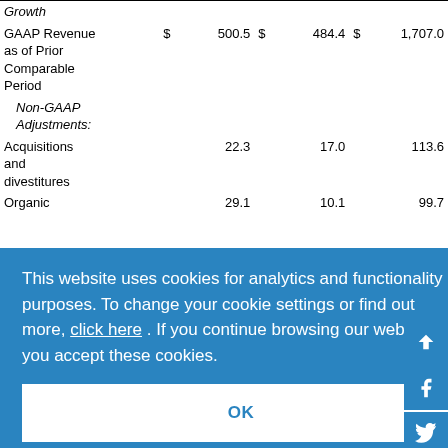|  | $ | 500.5 | $ | 484.4 | $ | 1,707.0 |
| --- | --- | --- | --- | --- | --- | --- |
| Growth |  |  |  |  |  |  |
| GAAP Revenue as of Prior Comparable Period | $ | 500.5 | $ | 484.4 | $ | 1,707.0 |
| Non-GAAP Adjustments: |  |  |  |  |  |  |
| Acquisitions and divestitures |  | 22.3 |  | 17.0 |  | 113.6 |
| Organic |  | 29.1 |  | 10.1 |  | 99.7 |
| Growth |  | 5.8% |  | 2.1% |  | 5.8% |
This website uses cookies for analytics and functionality purposes. To change your cookie settings or find out more, click here . If you continue browsing our website, you accept these cookies.